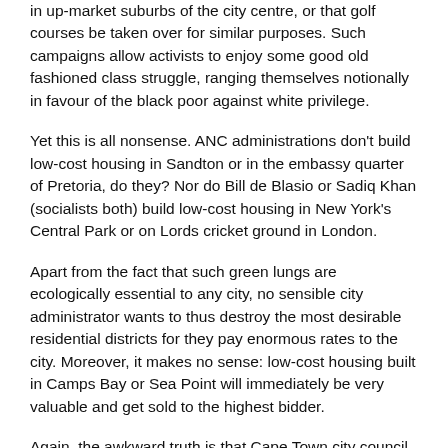in up-market suburbs of the city centre, or that golf courses be taken over for similar purposes. Such campaigns allow activists to enjoy some good old fashioned class struggle, ranging themselves notionally in favour of the black poor against white privilege.
Yet this is all nonsense. ANC administrations don't build low-cost housing in Sandton or in the embassy quarter of Pretoria, do they? Nor do Bill de Blasio or Sadiq Khan (socialists both) build low-cost housing in New York's Central Park or on Lords cricket ground in London.
Apart from the fact that such green lungs are ecologically essential to any city, no sensible city administrator wants to thus destroy the most desirable residential districts for they pay enormous rates to the city. Moreover, it makes no sense: low-cost housing built in Camps Bay or Sea Point will immediately be very valuable and get sold to the highest bidder.
Again, the awkward truth is that Cape Town city council redistributes far more resources towards the city's poorer districts than do ANC-controlled Jo'burg or Durban. This is possible because so much less money is stolen or wasted in Cape Town than in ANC-controlled cities.